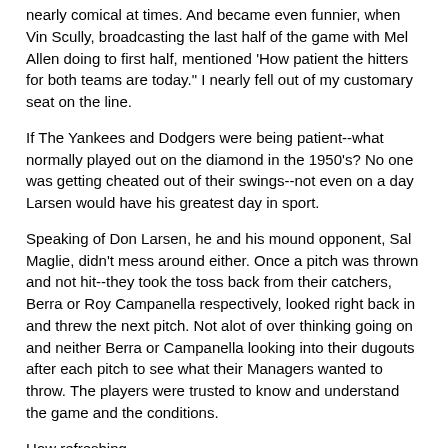nearly comical at times. And became even funnier, when Vin Scully, broadcasting the last half of the game with Mel Allen doing to first half, mentioned 'How patient the hitters for both teams are today." I nearly fell out of my customary seat on the line.
If The Yankees and Dodgers were being patient--what normally played out on the diamond in the 1950's? No one was getting cheated out of their swings--not even on a day Larsen would have his greatest day in sport.
Speaking of Don Larsen, he and his mound opponent, Sal Maglie, didn't mess around either. Once a pitch was thrown and not hit--they took the toss back from their catchers, Berra or Roy Campanella respectively, looked right back in and threw the next pitch. Not alot of over thinking going on and neither Berra or Campanella looking into their dugouts after each pitch to see what their Managers wanted to throw. The players were trusted to know and understand the game and the conditions.
How refreshing.